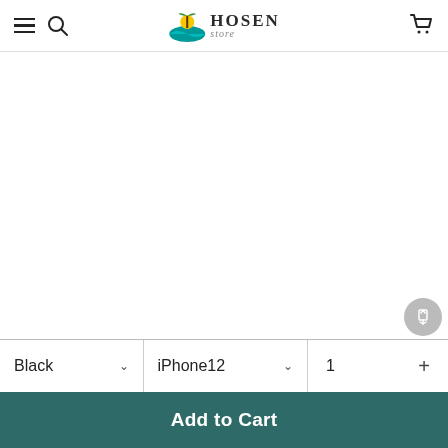Hosen — navigation header with hamburger menu, search, logo, and cart
★Support wireless charging without affecting signal transmission. The slim case is perfect for your device, with easy access to all ports, speakers,
Black  ▾   iPhone12  ▾   1  +
Add to Cart